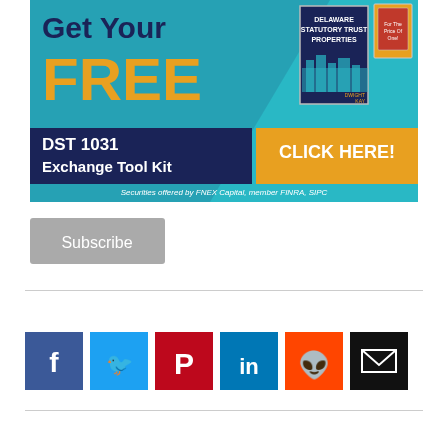[Figure (infographic): Advertisement banner: 'Get Your FREE DST 1031 Exchange Tool Kit' with Delaware Statutory Trust Properties book cover, CLICK HERE button, Securities offered by FNEX Capital, member FINRA, SIPC]
[Figure (other): Subscribe button (gray rounded rectangle)]
[Figure (other): Row of social media share icons: Facebook (blue), Twitter (light blue), Pinterest (red), LinkedIn (teal), Reddit (orange), Email (black)]